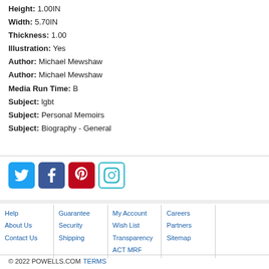Height: 1.00IN
Width: 5.70IN
Thickness: 1.00
Illustration: Yes
Author: Michael Mewshaw
Author: Michael Mewshaw
Media Run Time: B
Subject: lgbt
Subject: Personal Memoirs
Subject: Biography - General
[Figure (other): Social media icons: Twitter, Facebook, Pinterest, Instagram]
Help | About Us | Contact Us | Guarantee | Security | Shipping | My Account | Wish List | Transparency | ACT MRF | Careers | Partners | Sitemap
© 2022 POWELLS.COM TERMS